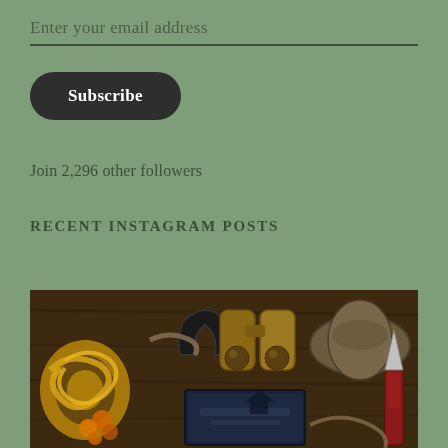Enter your email address
Subscribe
Join 2,296 other followers
RECENT INSTAGRAM POSTS
[Figure (photo): Instagram post showing an arrangement of vintage objects on a wooden surface: a horseshoe, brass binoculars, a leather hat, a book with a dark cover, golden snake-like decorations, rope, and a knife — flat lay style.]